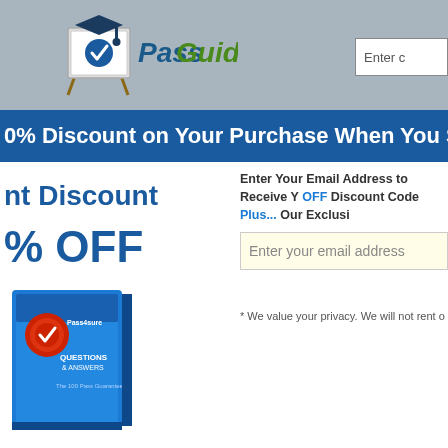[Figure (logo): PassGuide logo with graduation cap and checkmark on easel board]
Enter c
0% Discount on Your Purchase When You Sign
nt Discount
% OFF
Enter Your Email Address to Receive Y OFF Discount Code Plus... Our Exclusi
Enter your email address
[Figure (photo): Pass4sure Questions & Answers product box in blue]
* We value your privacy. We will not rent o